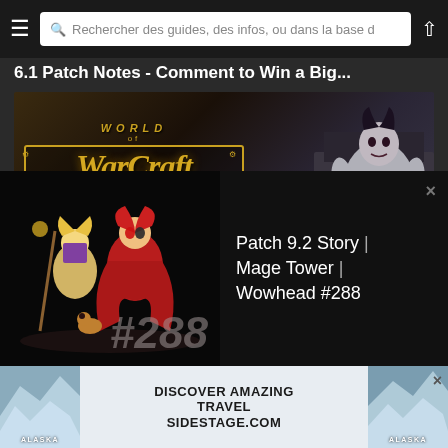Rechercher des guides, des infos, ou dans la base d
6.1 Patch Notes - Comment to Win a Big...
[Figure (screenshot): World of Warcraft game screenshot showing the WoW logo and a large character sitting on a throne. Text overlay: Publié le 23/03/2015 à 14:45 par perculia]
[Figure (screenshot): Partial screenshot of a second article card with a red themed image partially visible]
[Figure (screenshot): Wowhead Weekly popup overlay showing animated characters and episode number #288. Title: Patch 9.2 Story | Mage Tower | Wowhead #288]
[Figure (screenshot): Advertisement banner: DISCOVER AMAZING TRAVEL SIDESTAGE.COM with Alaska glacier images on both sides]